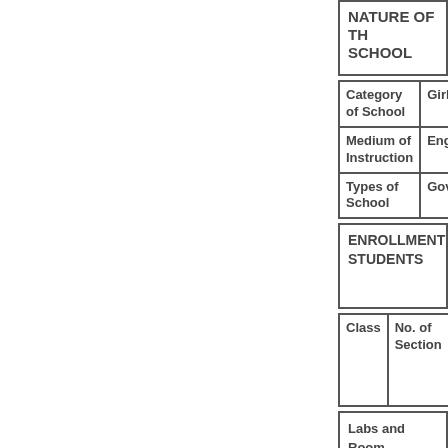NATURE OF THE SCHOOL
| Category of School | Girl... |
| --- | --- |
| Medium of Instruction | Eng... |
| Types of School | Gov... |
ENROLLMENT STUDENTS
| Class | No. of Section... |
| --- | --- |
Labs and Room...
| Room | Number |
| --- | --- |
|  |  |